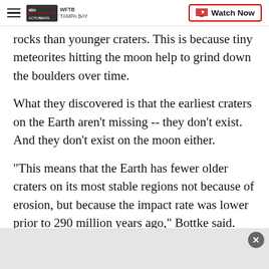WFTB TAMPA BAY | Watch Now
rocks than younger craters. This is because tiny meteorites hitting the moon help to grind down the boulders over time.
What they discovered is that the earliest craters on the Earth aren't missing -- they don't exist. And they don't exist on the moon either.
"This means that the Earth has fewer older craters on its most stable regions not because of erosion, but because the impact rate was lower prior to 290 million years ago," Bottke said. "The Moon is like a time